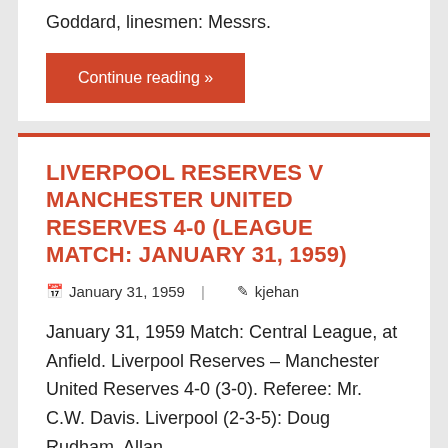Goddard, linesmen: Messrs.
Continue reading »
LIVERPOOL RESERVES V MANCHESTER UNITED RESERVES 4-0 (LEAGUE MATCH: JANUARY 31, 1959)
January 31, 1959   kjehan
January 31, 1959 Match: Central League, at Anfield. Liverpool Reserves – Manchester United Reserves 4-0 (3-0). Referee: Mr. C.W. Davis. Liverpool (2-3-5): Doug Rudham, Allan
Continue reading »